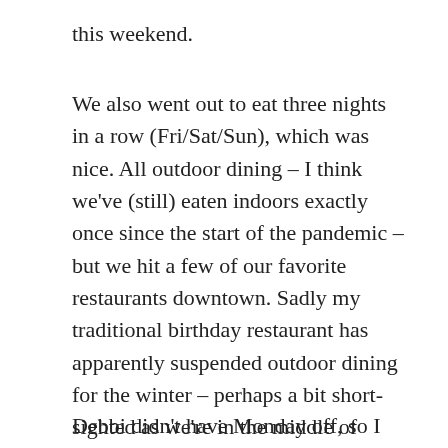this weekend.
We also went out to eat three nights in a row (Fri/Sat/Sun), which was nice. All outdoor dining – I think we've (still) eaten indoors exactly once since the start of the pandemic – but we hit a few of our favorite restaurants downtown. Sadly my traditional birthday restaurant has apparently suspended outdoor dining for the winter – perhaps a bit short-sighted as we're in the middle of warm spell, with highs getting into the 60s most days in the last week, and likely to stay warm through the end of the month.
Debbi didn't have Monday off, so I spent part